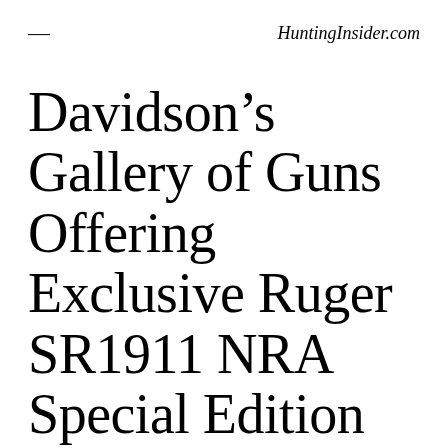≡   HuntingInsider.com
Davidson's Gallery of Guns Offering Exclusive Ruger SR1911 NRA Special Edition Pistol